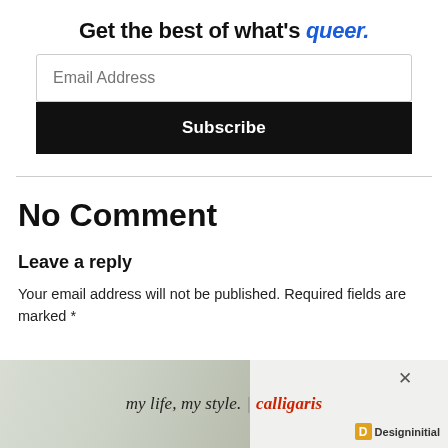Get the best of what's queer.
Email Address
Subscribe
No Comment
Leave a reply
Your email address will not be published. Required fields are marked *
[Figure (infographic): Advertisement banner: 'my life, my style. | calligaris' with furniture photo and Designinitial logo, with close (x) button]